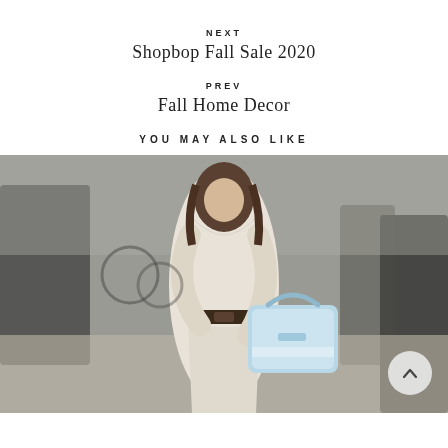NEXT
Shopbop Fall Sale 2020
PREV
Fall Home Decor
YOU MAY ALSO LIKE
[Figure (photo): Woman in cream fitted dress with dark belt and light blue Prada handbag walking on a city street]